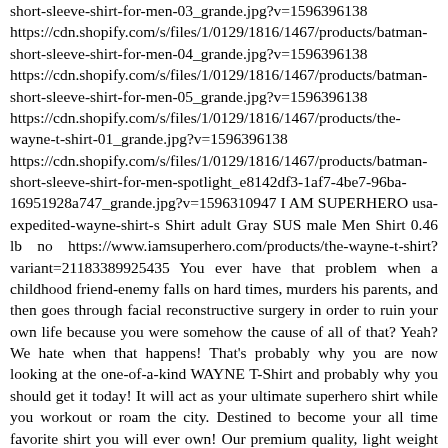short-sleeve-shirt-for-men-03_grande.jpg?v=1596396138 https://cdn.shopify.com/s/files/1/0129/1816/1467/products/batman-short-sleeve-shirt-for-men-04_grande.jpg?v=1596396138 https://cdn.shopify.com/s/files/1/0129/1816/1467/products/batman-short-sleeve-shirt-for-men-05_grande.jpg?v=1596396138 https://cdn.shopify.com/s/files/1/0129/1816/1467/products/the-wayne-t-shirt-01_grande.jpg?v=1596396138 https://cdn.shopify.com/s/files/1/0129/1816/1467/products/batman-short-sleeve-shirt-for-men-spotlight_e8142df3-1af7-4be7-96ba-16951928a747_grande.jpg?v=1596310947 I AM SUPERHERO usa-expedited-wayne-shirt-s Shirt adult Gray SUS male Men Shirt 0.46 lb no https://www.iamsuperhero.com/products/the-wayne-t-shirt?variant=21183389925435 You ever have that problem when a childhood friend-enemy falls on hard times, murders his parents, and then goes through facial reconstructive surgery in order to ruin your own life because you were somehow the cause of all of that? Yeah? We hate when that happens! That's probably why you are now looking at the one-of-a-kind WAYNE T-Shirt and probably why you should get it today! It will act as your ultimate superhero shirt while you workout or roam the city. Destined to become your all time favorite shirt you will ever own!  Our premium quality, light weight SUPERWEAR™ material blend will serve well to enhance your training, giving you the superhero confidence to take on those tough days in a form fitting athletic cut that flatters your shape, fabrics that support your movements and quality that endures. But we also understand you are not willing to...